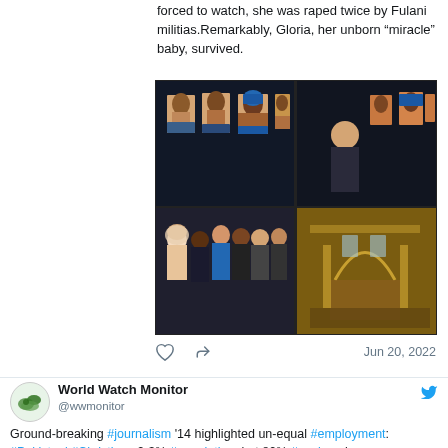forced to watch, she was raped twice by Fulani militias.Remarkably, Gloria, her unborn “miracle” baby, survived.
[Figure (photo): Four-panel photo grid showing an art exhibition with portrait paintings of African women displayed on dark walls, a man viewing the artwork, a group of people posing at the exhibition, and an ornate hall interior.]
Jun 20, 2022
World Watch Monitor @wwmonitor Ground-breaking #journalism '14 highlighted un-equal #employment: #Pakistani #Christians 2-3% #population, but 80% #workers in sewerage sector! Even tho' this brought #Punjab #law change, heard #practice didn’t always keep up. Now #HighCourt rules ‘action’